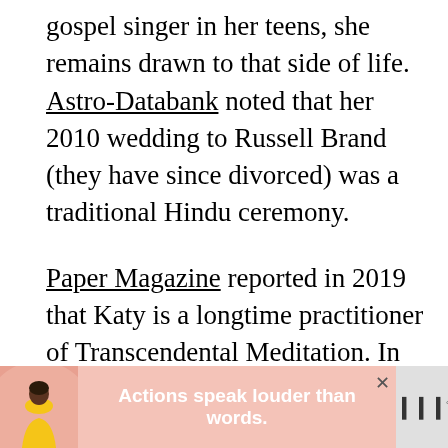gospel singer in her teens, she remains drawn to that side of life. Astro-Databank noted that her 2010 wedding to Russell Brand (they have since divorced) was a traditional Hindu ceremony.
Paper Magazine reported in 2019 that Katy is a longtime practitioner of Transcendental Meditation. In that interview, she expressed enjoyment of the personal growth she had gone through by age 34, noting, “…whereas I used to think things were too scary or not for me, now I’ve pushed my limits in all of that. I’
[Figure (screenshot): Advertisement banner at bottom of page with pink/coral background, silhouette of person on left, bold white text reading 'Actions speak louder than words.' in center, and a logo on right. Close button (x) in upper right of banner.]